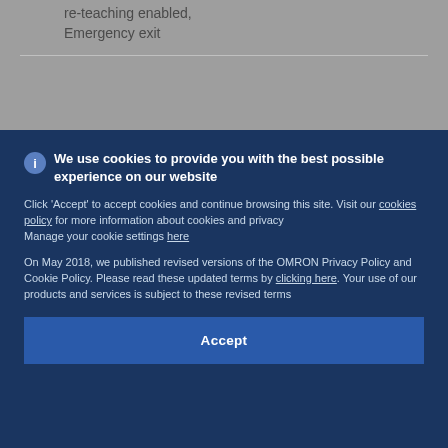re-teaching enabled, Emergency exit
We use cookies to provide you with the best possible experience on our website
Click 'Accept' to accept cookies and continue browsing this site. Visit our cookies policy for more information about cookies and privacy
Manage your cookie settings here
On May 2018, we published revised versions of the OMRON Privacy Policy and Cookie Policy. Please read these updated terms by clicking here. Your use of our products and services is subject to these revised terms
Accept